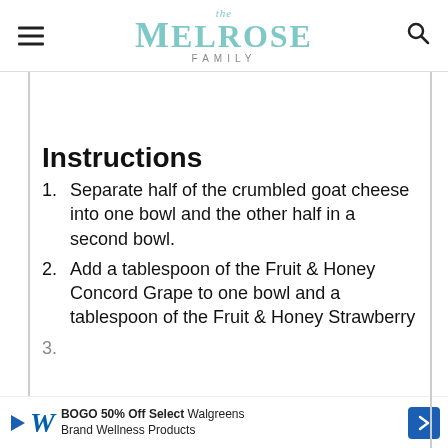the Melrose Family
Instructions
Separate half of the crumbled goat cheese into one bowl and the other half in a second bowl.
Add a tablespoon of the Fruit & Honey Concord Grape to one bowl and a tablespoon of the Fruit & Honey Strawberry
3. (partially visible)
[Figure (other): Walgreens advertisement banner: BOGO 50% Off Select Walgreens Brand Wellness Products]